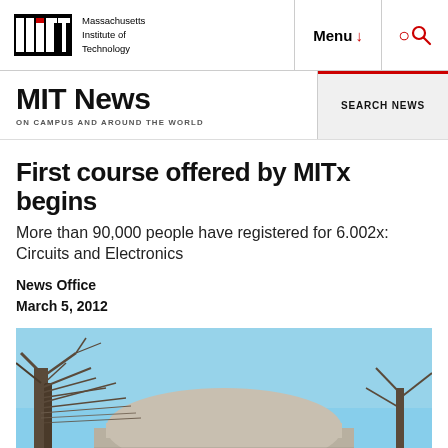Massachusetts Institute of Technology | Menu | Search
MIT News ON CAMPUS AND AROUND THE WORLD
First course offered by MITx begins
More than 90,000 people have registered for 6.002x: Circuits and Electronics
News Office
March 5, 2012
[Figure (photo): Exterior architectural photo of an MIT building dome/rotunda with bare winter trees against a blue sky]